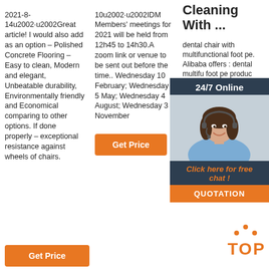2021-8-14u2002·u2002Great article! I would also add as an option – Polished Concrete Flooring – Easy to clean, Modern and elegant, Unbeatable durability, Environmentally friendly and Economical comparing to other options. If done properly – exceptional resistance against wheels of chairs.
[Figure (other): Orange 'Get Price' button at bottom of column 1]
10u2002·u2002IDM Members' meetings for 2021 will be held from 12h45 to 14h30.A zoom link or venue to be sent out before the time.. Wednesday 10 February; Wednesday 5 May; Wednesday 4 August; Wednesday 3 November
[Figure (other): Orange 'Get Price' button in column 2]
Cleaning With ...
dental chair with multifunctional foot pe. Alibaba offers : dental multifu foot pe produc variety chair w multifu foot pe are available to you, such as quality certification, material, and warranty.
[Figure (photo): Chat overlay with '24/7 Online' header, photo of woman with headset smiling, 'Click here for free chat!' text, and orange QUOTATION button]
[Figure (logo): Orange TOP logo with dots above the text at bottom right]